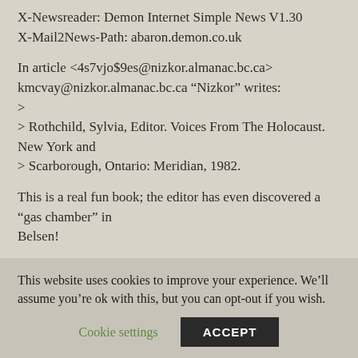X-Newsreader: Demon Internet Simple News V1.30
X-Mail2News-Path: abaron.demon.co.uk
In article <4s7vjo$9es@nizkor.almanac.bc.ca>
kmcvay@nizkor.almanac.bc.ca "Nizkor" writes:
>
> Rothchild, Sylvia, Editor. Voices From The Holocaust. New York and
> Scarborough, Ontario: Meridian, 1982.
This is a real fun book; the editor has even discovered a “gas chamber” in
Belsen!
This website uses cookies to improve your experience. We’ll assume you’re ok with this, but you can opt-out if you wish.